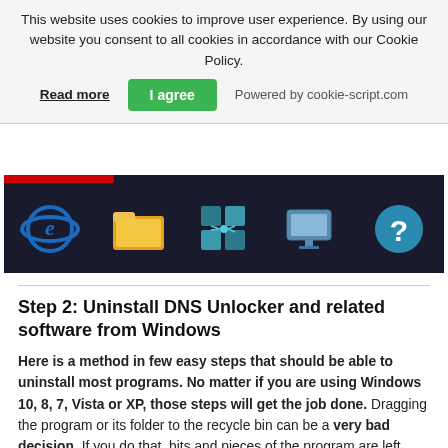This website uses cookies to improve user experience. By using our website you consent to all cookies in accordance with our Cookie Policy.
Read more | I agree | Powered by cookie-script.com
[Figure (screenshot): Windows taskbar/toolbar screenshot showing icons including Internet Explorer, folder, network/tiles, monitor, and help/question mark icons on a dark background]
Step 2: Uninstall DNS Unlocker and related software from Windows
Here is a method in few easy steps that should be able to uninstall most programs. No matter if you are using Windows 10, 8, 7, Vista or XP, those steps will get the job done. Dragging the program or its folder to the recycle bin can be a very bad decision. If you do that, bits and pieces of the program are left behind, and that can lead to unstable work of your PC, errors with the file type associations and other unpleasant activities